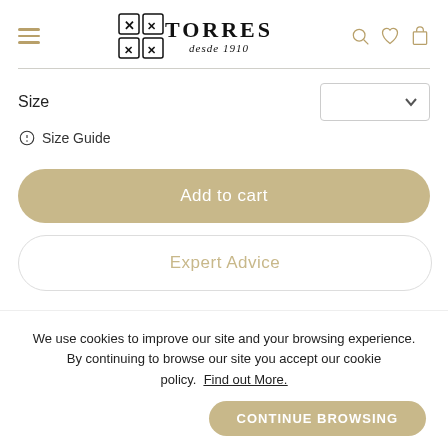TORRES desde 1710
Size
Size Guide
Add to cart
Expert Advice
We use cookies to improve our site and your browsing experience. By continuing to browse our site you accept our cookie policy. Find out More.
CONTINUE BROWSING